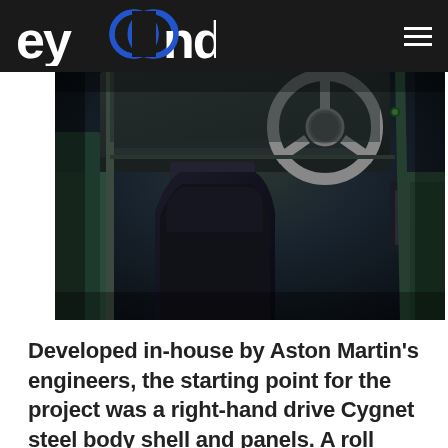beyond
[Figure (photo): Interior of Aston Martin Cygnet racing car showing roll cage, carbon fiber dashboard, racing steering wheel, pedals, and black racing seat]
Developed in-house by Aston Martin's engineers, the starting point for the project was a right-hand drive Cygnet steel body shell and panels. A roll cage was welded to this, becoming an integral part of the chassis in the process, while a new front